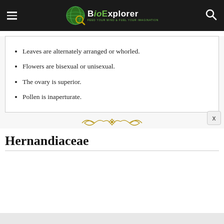BioExplorer — FEED YOUR MIND & FUEL YOUR IMAGINATION
Leaves are alternately arranged or whorled.
Flowers are bisexual or unisexual.
The ovary is superior.
Pollen is inaperturate.
[Figure (illustration): Decorative golden ornamental divider/flourish]
Hernandiaceae